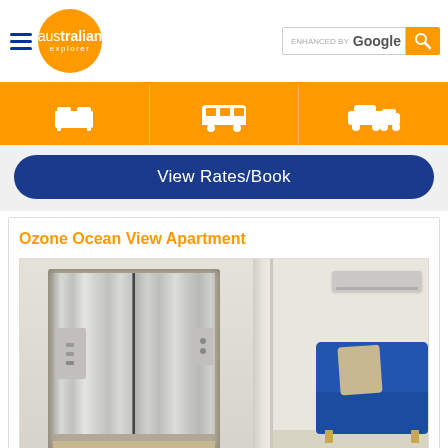Australian Explorer — ENHANCED BY Google [search]
[Figure (screenshot): Orange navigation bar with icons for accommodation, transport, and car rental]
View Rates/Book
Ozone Ocean View Apartment
[Figure (photo): Interior photo showing stainless steel elevator doors on the left and a room with a blue sofa and AC unit visible through an open door on the right]